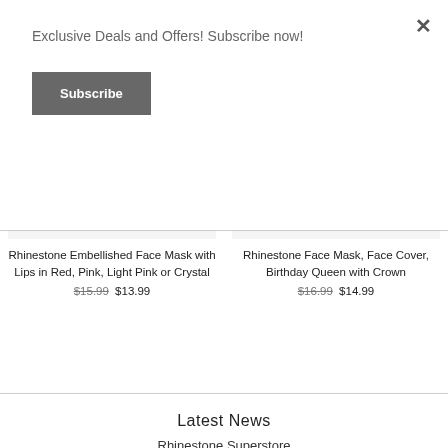Exclusive Deals and Offers! Subscribe now!
Subscribe
×
Rhinestone Embellished Face Mask with Lips in Red, Pink, Light Pink or Crystal
$15.99 $13.99
Rhinestone Face Mask, Face Cover, Birthday Queen with Crown
$16.99 $14.99
Latest News
Rhinestone Superstore